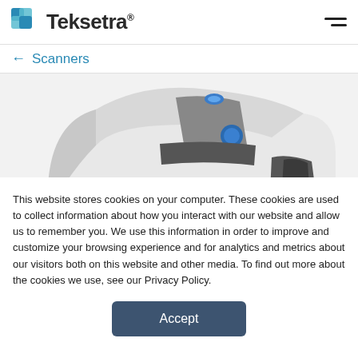Teksetra®
← Scanners
[Figure (photo): Close-up photo of a white and silver desktop document/check scanner with a blue indicator light and a blue circular button, shown at an angle on a white background.]
This website stores cookies on your computer. These cookies are used to collect information about how you interact with our website and allow us to remember you. We use this information in order to improve and customize your browsing experience and for analytics and metrics about our visitors both on this website and other media. To find out more about the cookies we use, see our Privacy Policy.
Accept